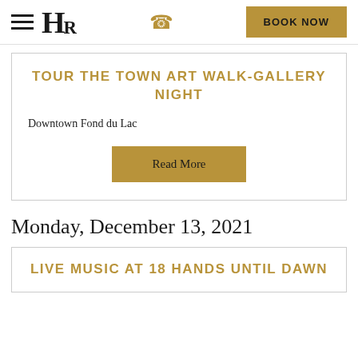HR | BOOK NOW
TOUR THE TOWN ART WALK-GALLERY NIGHT
Downtown Fond du Lac
Read More
Monday, December 13, 2021
LIVE MUSIC AT 18 HANDS UNTIL DAWN